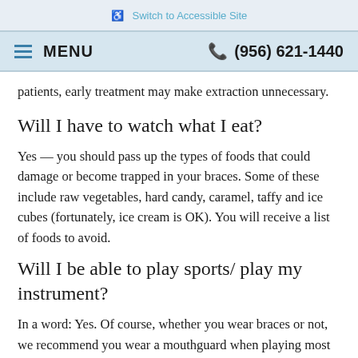Switch to Accessible Site
MENU  (956) 621-1440
patients, early treatment may make extraction unnecessary.
Will I have to watch what I eat?
Yes — you should pass up the types of foods that could damage or become trapped in your braces. Some of these include raw vegetables, hard candy, caramel, taffy and ice cubes (fortunately, ice cream is OK). You will receive a list of foods to avoid.
Will I be able to play sports/ play my instrument?
In a word: Yes. Of course, whether you wear braces or not, we recommend you wear a mouthguard when playing most sports. Musicians are generally able to